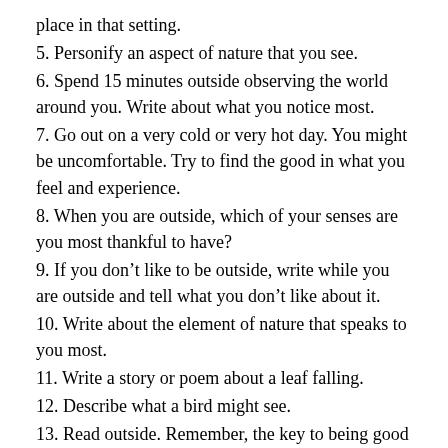place in that setting.
5. Personify an aspect of nature that you see.
6. Spend 15 minutes outside observing the world around you. Write about what you notice most.
7. Go out on a very cold or very hot day. You might be uncomfortable. Try to find the good in what you feel and experience.
8. When you are outside, which of your senses are you most thankful to have?
9. If you don’t like to be outside, write while you are outside and tell what you don’t like about it.
10. Write about the element of nature that speaks to you most.
11. Write a story or poem about a leaf falling.
12. Describe what a bird might see.
13. Read outside. Remember, the key to being good writer is to read.
14. While inside, read about nature and look at pictures of nature. Let these images and readings inspire your